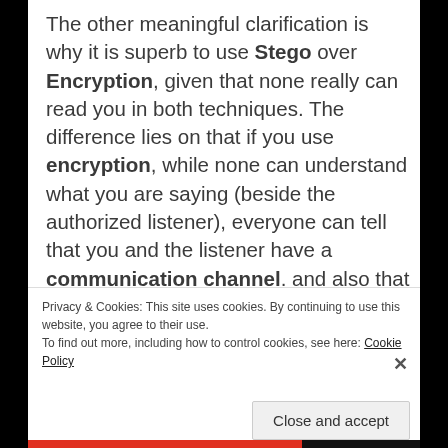The other meaningful clarification is why it is superb to use Stego over Encryption, given that none really can read you in both techniques. The difference lies on that if you use encryption, while none can understand what you are saying (beside the authorized listener), everyone can tell that you and the listener have a communication channel. and also that you
Privacy & Cookies: This site uses cookies. By continuing to use this website, you agree to their use.
To find out more, including how to control cookies, see here: Cookie Policy
Close and accept